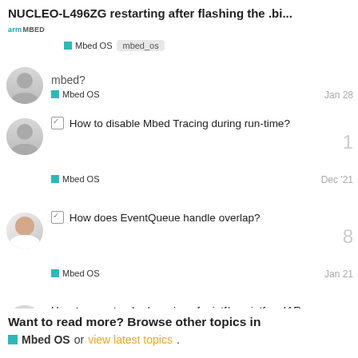NUCLEO-L496ZG restarting after flashing the .bi... | Mbed OS | mbed_os
mbed? — Mbed OS — Jan 28
☑ How to disable Mbed Tracing during run-time? — Mbed OS — Dec '21 — 1 reply
☑ How does EventQueue handle overlap? — Mbed OS — Jan 21 — 8 replies
How to use standard version of printf/snprintf on IAR EWARM — Mbed OS — Feb 7 — 4 replies
Want to read more? Browse other topics in Mbed OS or view latest topics.